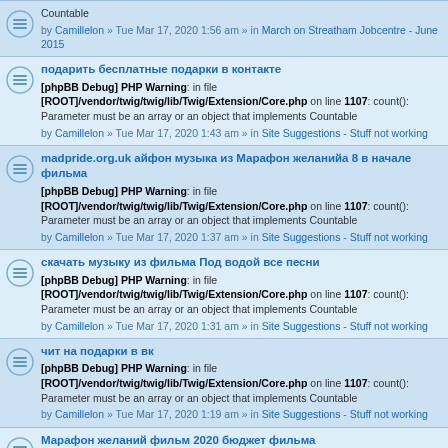Countable
by Camillelon » Tue Mar 17, 2020 1:56 am » in March on Streatham Jobcentre - June 2015
подарить бесплатные подарки в контакте
[phpBB Debug] PHP Warning: in file [ROOT]/vendor/twig/twig/lib/Twig/Extension/Core.php on line 1107: count(): Parameter must be an array or an object that implements Countable
by Camillelon » Tue Mar 17, 2020 1:43 am » in Site Suggestions - Stuff not working
madpride.org.uk айфон музыка из Марафон желанийа 8 в начале фильма
[phpBB Debug] PHP Warning: in file [ROOT]/vendor/twig/twig/lib/Twig/Extension/Core.php on line 1107: count(): Parameter must be an array or an object that implements Countable
by Camillelon » Tue Mar 17, 2020 1:37 am » in Site Suggestions - Stuff not working
скачать музыку из фильма Под водой все песни
[phpBB Debug] PHP Warning: in file [ROOT]/vendor/twig/twig/lib/Twig/Extension/Core.php on line 1107: count(): Parameter must be an array or an object that implements Countable
by Camillelon » Tue Mar 17, 2020 1:31 am » in Site Suggestions - Stuff not working
чит на подарки в вк
[phpBB Debug] PHP Warning: in file [ROOT]/vendor/twig/twig/lib/Twig/Extension/Core.php on line 1107: count(): Parameter must be an array or an object that implements Countable
by Camillelon » Tue Mar 17, 2020 1:19 am » in Site Suggestions - Stuff not working
Марафон желаний фильм 2020 бюджет фильма
[phpBB Debug] PHP Warning: in file ...